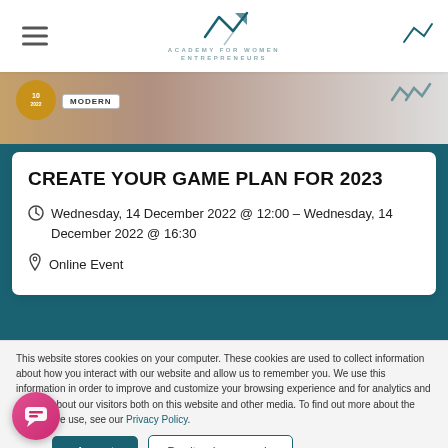Academy for Women Entrepreneurs
[Figure (photo): Banner image with a person, a gold circular badge, and a white tag reading MODERN]
CREATE YOUR GAME PLAN FOR 2023
Wednesday, 14 December 2022 @ 12:00 – Wednesday, 14 December 2022 @ 16:30
Online Event
This website stores cookies on your computer. These cookies are used to collect information about how you interact with our website and allow us to remember you. We use this information in order to improve and customize your browsing experience and for analytics and metrics about our visitors both on this website and other media. To find out more about the cookies we use, see our Privacy Policy.
Accept
Don't ask me again